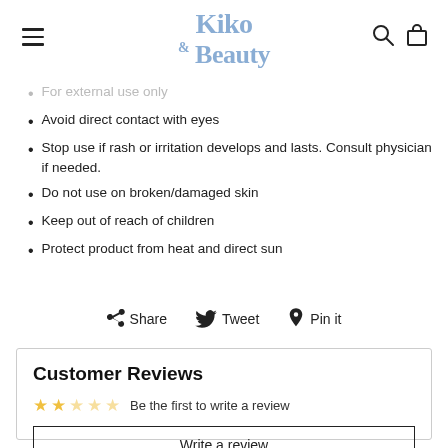Kiko & Beauty
For external use only
Avoid direct contact with eyes
Stop use if rash or irritation develops and lasts. Consult physician if needed.
Do not use on broken/damaged skin
Keep out of reach of children
Protect product from heat and direct sun
Share  Tweet  Pin it
Customer Reviews
Be the first to write a review
Write a review